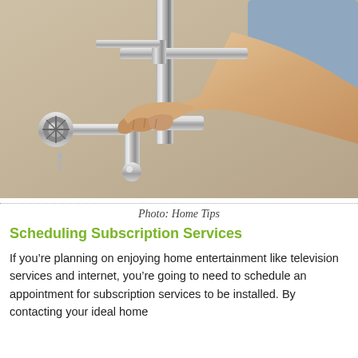[Figure (photo): A person's hand gripping plumbing pipes under a sink, showing chrome S-trap and supply valves with a bead of water dripping.]
Photo: Home Tips
Scheduling Subscription Services
If you’re planning on enjoying home entertainment like television services and internet, you’re going to need to schedule an appointment for subscription services to be installed. By contacting your ideal home